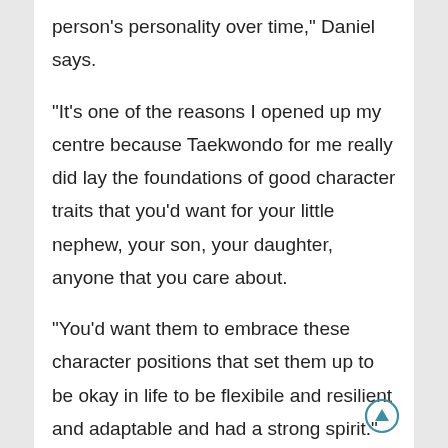person's personality over time," Daniel says.
"It's one of the reasons I opened up my centre because Taekwondo for me really did lay the foundations of good character traits that you'd want for your little nephew, your son, your daughter, anyone that you care about.
"You'd want them to embrace these character positions that set them up to be okay in life to be flexibile and resilient and adaptable and had a strong spirit."